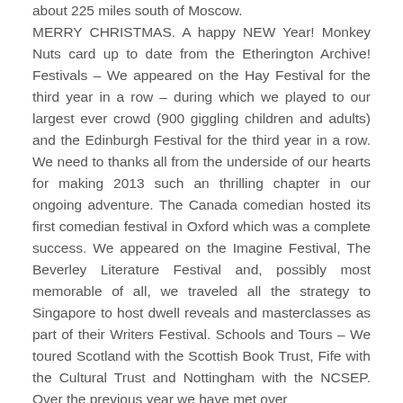about 225 miles south of Moscow. MERRY CHRISTMAS. A happy NEW Year! Monkey Nuts card up to date from the Etherington Archive! Festivals – We appeared on the Hay Festival for the third year in a row – during which we played to our largest ever crowd (900 giggling children and adults) and the Edinburgh Festival for the third year in a row. We need to thanks all from the underside of our hearts for making 2013 such an thrilling chapter in our ongoing adventure. The Canada comedian hosted its first comedian festival in Oxford which was a complete success. We appeared on the Imagine Festival, The Beverley Literature Festival and, possibly most memorable of all, we traveled all the strategy to Singapore to host dwell reveals and masterclasses as part of their Writers Festival. Schools and Tours – We toured Scotland with the Scottish Book Trust, Fife with the Cultural Trust and Nottingham with the NCSEP. Over the previous year we have met over